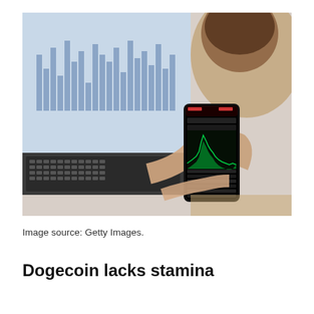[Figure (photo): A woman viewed from behind holding a smartphone displaying a stock trading app with a green candlestick chart, in front of a laptop showing bar charts on its screen. The scene suggests active financial/crypto trading monitoring.]
Image source: Getty Images.
Dogecoin lacks stamina